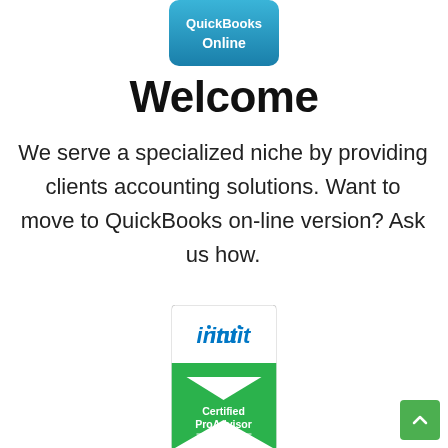[Figure (logo): QuickBooks Online logo — teal/blue rounded rectangle badge with white text 'QuickBooks Online']
Welcome
We serve a specialized niche by providing clients accounting solutions. Want to move to QuickBooks on-line version? Ask us how.
[Figure (logo): Intuit Certified ProAdvisor QuickBooks badge — white top with Intuit logo in blue, green chevron/shield bottom with 'Certified ProAdvisor' and 'QuickBooks' in white text]